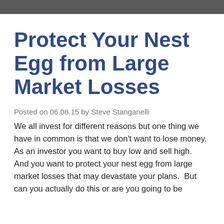Protect Your Nest Egg from Large Market Losses
Posted on 06.08.15 by Steve Stanganelli
We all invest for different reasons but one thing we have in common is that we don't want to lose money.  As an investor you want to buy low and sell high.  And you want to protect your nest egg from large market losses that may devastate your plans.  But can you actually do this or are you going to be